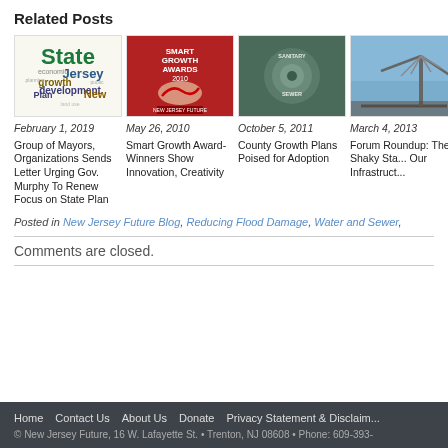Related Posts
[Figure (illustration): Word cloud with 'State' prominently in green, surrounded by words like Jersey, growth, development, economic, Plan, New]
February 1, 2019
Group of Mayors, Organizations Sends Letter Urging Gov. Murphy To Renew Focus on State Plan
[Figure (photo): Red poster/cover for Smart Growth Awards 2010]
May 26, 2010
Smart Growth Award-Winners Show Innovation, Creativity
[Figure (photo): Close-up of a metal sanitary sewer cover]
October 5, 2011
County Growth Plans Poised for Adoption
[Figure (photo): Bridge structure against blue sky]
March 4, 2013
Forum Roundup: The Shaky State of Our Infrastructure
Posted in New Jersey Future Blog, Reducing Flood Damage, Water and Sewer,
Comments are closed.
Home   Contact Us   About Us   Donate   Privacy Statement & Disclaimer
© New Jersey Future, 16 W. Lafayette St. • Trenton, NJ 08608 • Phone: 609-393-